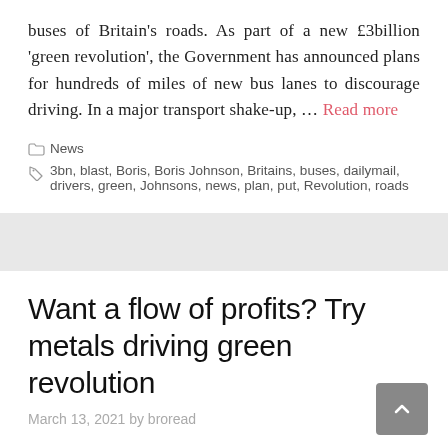buses of Britain's roads. As part of a new £3billion 'green revolution', the Government has announced plans for hundreds of miles of new bus lanes to discourage driving. In a major transport shake-up, … Read more
News
3bn, blast, Boris, Boris Johnson, Britains, buses, dailymail, drivers, green, Johnsons, news, plan, put, Revolution, roads
Want a flow of profits? Try metals driving green revolution
March 13, 2021 by broread